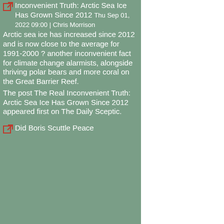Inconvenient Truth: Arctic Sea Ice Has Grown Since 2012 Thu Sep 01, 2022 09:00 | Chris Morrison Arctic sea ice has increased since 2012 and is now close to the average for 1991-2000 ? another inconvenient fact for climate change alarmists, alongside thriving polar bears and more coral on the Great Barrier Reef. The post The Real Inconvenient Truth: Arctic Sea Ice Has Grown Since 2012 appeared first on The Daily Sceptic.
Did Boris Scuttle Peace